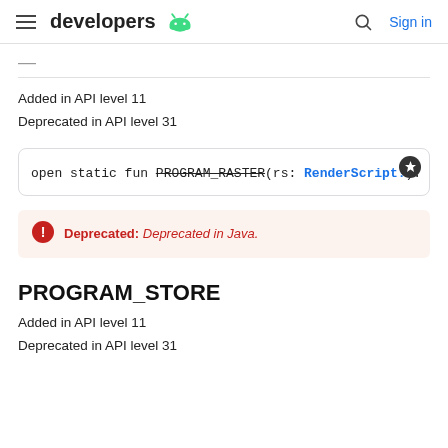developers [Android logo] | Search | Sign in
Added in API level 11
Deprecated in API level 31
open static fun PROGRAM_RASTER(rs: RenderScript!): B
Deprecated: Deprecated in Java.
PROGRAM_STORE
Added in API level 11
Deprecated in API level 31